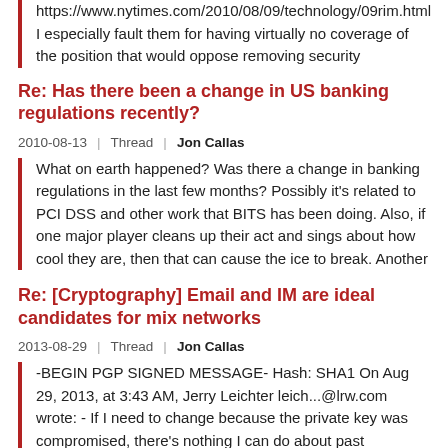https://www.nytimes.com/2010/08/09/technology/09rim.html I especially fault them for having virtually no coverage of the position that would oppose removing security
Re: Has there been a change in US banking regulations recently?
2010-08-13 | Thread | Jon Callas
What on earth happened? Was there a change in banking regulations in the last few months? Possibly it's related to PCI DSS and other work that BITS has been doing. Also, if one major player cleans up their act and sings about how cool they are, then that can cause the ice to break. Another
Re: [Cryptography] Email and IM are ideal candidates for mix networks
2013-08-29 | Thread | Jon Callas
-BEGIN PGP SIGNED MESSAGE- Hash: SHA1 On Aug 29, 2013, at 3:43 AM, Jerry Leichter leich...@lrw.com wrote: - If I need to change because the private key was compromised, there's nothing I can do about past messages; the question is what I do to minimize the number of new messages
Re: [Cryptography] ...